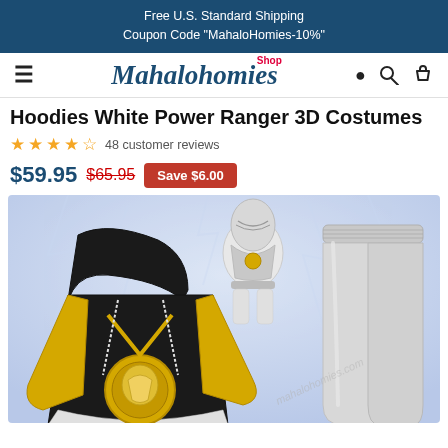Free U.S. Standard Shipping
Coupon Code "MahaloHomies-10%"
[Figure (logo): Shop Mahalohomies logo with hamburger menu and search/cart icons]
Hoodies White Power Ranger 3D Costumes
4.5 stars — 48 customer reviews
$59.95  $65.95  Save $6.00
[Figure (photo): Product photo showing a Black and gold White Power Ranger 3D printed hoodie on the left, a White Power Ranger figure in the center background, and white/silver jogger pants on the right, all against a light blue lightning background.]